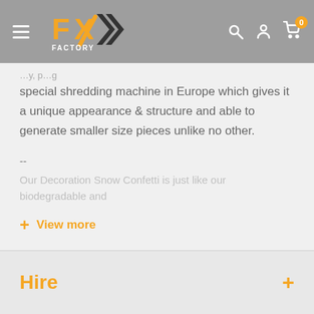[Figure (logo): FX Factory logo with orange and black chevron/arrow design and 'FACTORY' text below]
special shredding machine in Europe which gives it a unique appearance & structure and able to generate smaller size pieces unlike no other.
--
Our Decoration Snow Confetti is just like our biodegradable and
+ View more
Hire